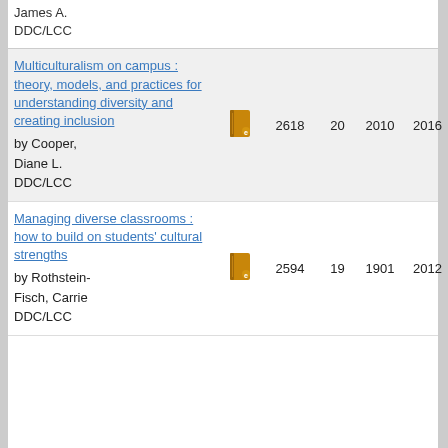James A.
DDC/LCC
| Title | Type | Count | Num | Year1 | Year2 |
| --- | --- | --- | --- | --- | --- |
| Multiculturalism on campus : theory, models, and practices for understanding diversity and creating inclusion
by Cooper, Diane L.
DDC/LCC | [ebook icon] | 2618 | 20 | 2010 | 2016 |
| Managing diverse classrooms : how to build on students' cultural strengths
by Rothstein-Fisch, Carrie
DDC/LCC | [ebook icon] | 2594 | 19 | 1901 | 2012 |